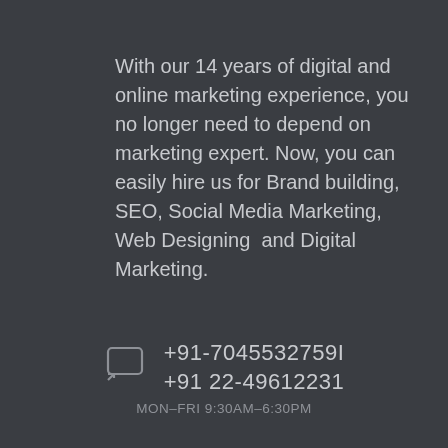With our 14 years of digital and online marketing experience, you no longer need to depend on marketing expert. Now, you can easily hire us for Brand building, SEO, Social Media Marketing, Web Designing  and Digital Marketing.
+91-7045532759I
+91 22-49612231
MON-FRI 9:30AM-6:30PM